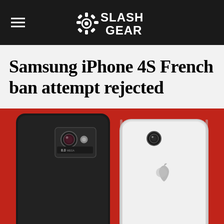SlashGear
Samsung iPhone 4S French ban attempt rejected
[Figure (photo): Back view of two smartphones side by side on a red background: a black Samsung Galaxy S2 on the left and a white iPhone 4S on the right]